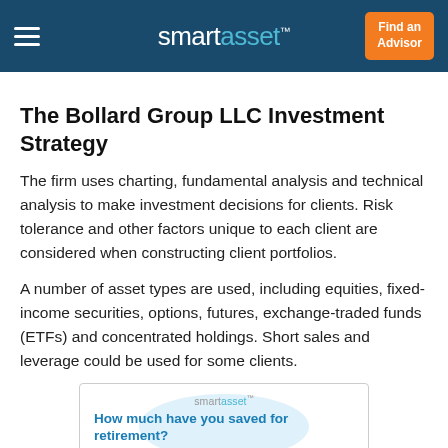smartasset™  Find an Advisor
The Bollard Group LLC Investment Strategy
The firm uses charting, fundamental analysis and technical analysis to make investment decisions for clients. Risk tolerance and other factors unique to each client are considered when constructing client portfolios.
A number of asset types are used, including equities, fixed-income securities, options, futures, exchange-traded funds (ETFs) and concentrated holdings. Short sales and leverage could be used for some clients.
[Figure (infographic): SmartAsset advertisement banner asking 'How much have you saved for retirement?' with dollar amount options $25K, $100K, $250K displayed in blue text on a white background with a light blue circular blob graphic.]